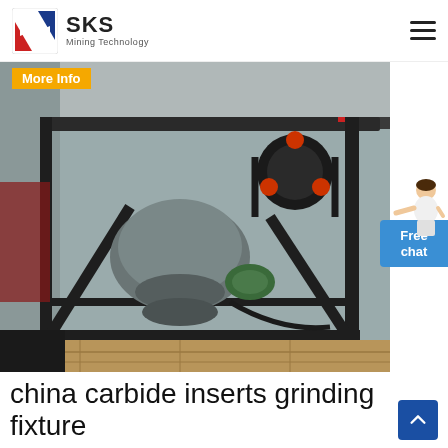SKS Mining Technology
More Info
[Figure (photo): Close-up photograph of industrial mining grinding machine showing undercarriage with metal frame, motor assembly, pulleys with red-tipped belts, and a green component, mounted on a black steel structural frame on a wooden floor.]
china carbide inserts grinding fixture